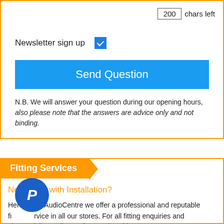200 chars left
Newsletter sign up
Send Question
N.B. We will answer your question during our opening hours, also please note that the answers are advice only and not binding.
Fitting Services
Need help with Installation?
Here at CarAudioCentre we offer a professional and reputable fitting service in all our stores. For all fitting enquiries and please visit or call one of our nationwide stores. Our install your new car stereo, DAB radio, audio visual, speakers, subwoofers or amplifier. We can also help to connect your iPod or MP3 player to you existing audio unit and can offer the best advice on the right in-car entertainment for